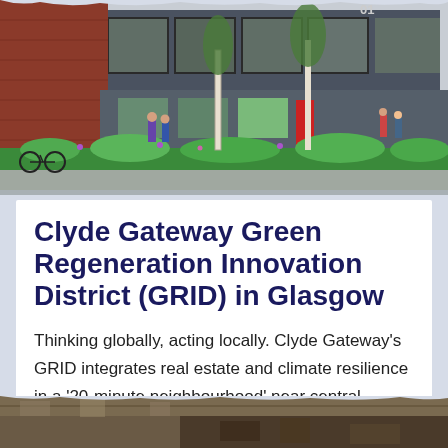[Figure (photo): Architectural rendering/photo of a modern building with large glass windows and brick walls, with people walking along a landscaped pathway with green plants and birch trees. Number '01' visible on the building.]
Clyde Gateway Green Regeneration Innovation District (GRID) in Glasgow
Thinking globally, acting locally. Clyde Gateway's GRID integrates real estate and climate resilience in a '20-minute neighbourhood' near central Glasgow.
[Figure (photo): Partial view of another image at the bottom of the page, appears to show an aerial or street-level view of an urban area.]